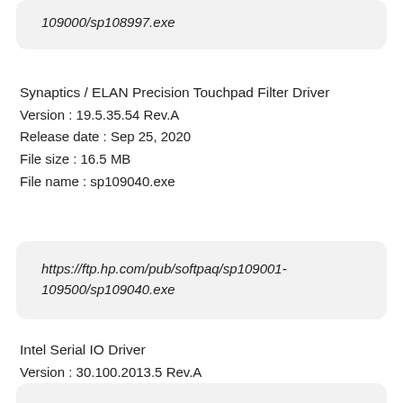109000/sp108997.exe
Synaptics / ELAN Precision Touchpad Filter Driver
Version : 19.5.35.54 Rev.A
Release date : Sep 25, 2020
File size : 16.5 MB
File name : sp109040.exe
https://ftp.hp.com/pub/softpaq/sp109001-109500/sp109040.exe
Intel Serial IO Driver
Version : 30.100.2013.5 Rev.A
Release date : Sep 9, 2020
File size : 0.8 MB
File name : sp108999.exe